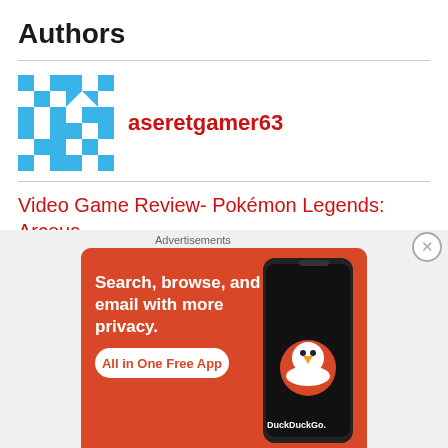Authors
[Figure (illustration): Pixel-art avatar for aseretgamer63]
aseretgamer63
Video Game Review- Pokémon Legends: Arceus
[Figure (photo): Photo of Riley J. Rath, a man smiling outdoors]
Riley J. Rath
How to Play: 7 Unique Clerics Inspired from History
[Figure (infographic): DuckDuckGo advertisement banner: Search, browse, and email with more privacy. All in One Free App. Shows a phone and DuckDuckGo logo.]